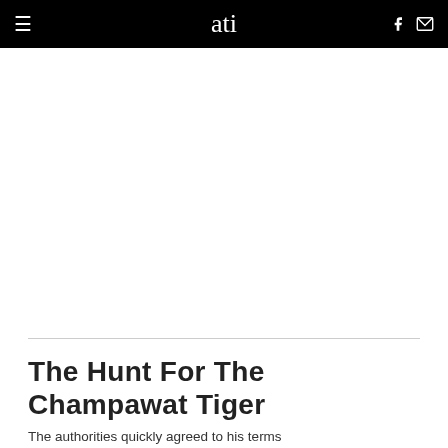ati
[Figure (other): White advertisement/blank area below navigation bar]
The Hunt For The Champawat Tiger
The authorities quickly agreed to his terms